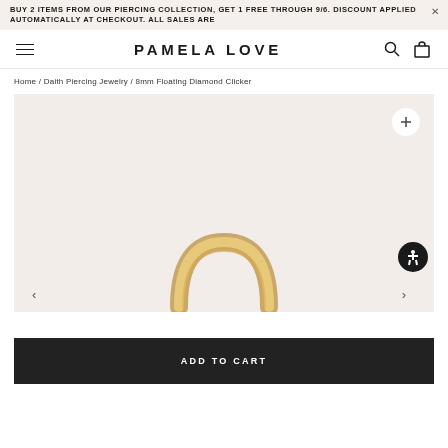BUY 2 ITEMS FROM OUR PIERCING COLLECTION, GET 1 FREE THROUGH 9/6. DISCOUNT APPLIED AUTOMATICALLY AT CHECKOUT. ALL SALES ARE
PAMELA LOVE
Home / Daith Piercing Jewelry / 8mm Floating Diamond Clicker
[Figure (photo): Product photo of an 8mm Floating Diamond Clicker gold ring earring on a light beige background, with a zoom button (+) and accessibility icon overlay.]
ADD TO CART